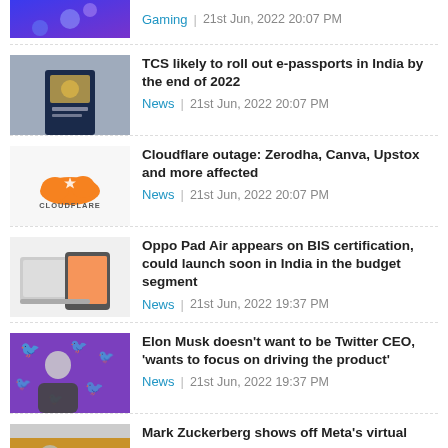Gaming | 21st Jun, 2022 20:07 PM
TCS likely to roll out e-passports in India by the end of 2022 | News | 21st Jun, 2022 20:07 PM
Cloudflare outage: Zerodha, Canva, Upstox and more affected | News | 21st Jun, 2022 20:07 PM
Oppo Pad Air appears on BIS certification, could launch soon in India in the budget segment | News | 21st Jun, 2022 19:37 PM
Elon Musk doesn't want to be Twitter CEO, 'wants to focus on driving the product' | News | 21st Jun, 2022 19:37 PM
Mark Zuckerberg shows off Meta's virtual